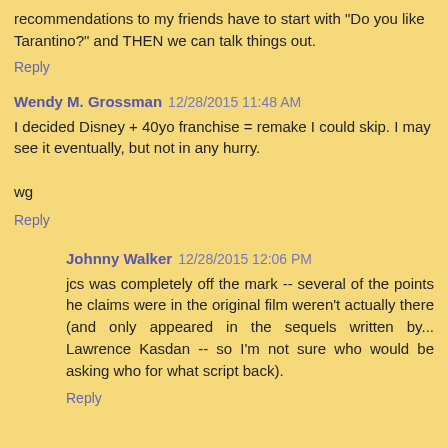recommendations to my friends have to start with "Do you like Tarantino?" and THEN we can talk things out.
Reply
Wendy M. Grossman 12/28/2015 11:48 AM
I decided Disney + 40yo franchise = remake I could skip. I may see it eventually, but not in any hurry.

wg
Reply
[Figure (illustration): Orange circular avatar with letter B in white]
Johnny Walker 12/28/2015 12:06 PM
jcs was completely off the mark -- several of the points he claims were in the original film weren't actually there (and only appeared in the sequels written by... Lawrence Kasdan -- so I'm not sure who would be asking who for what script back).
Reply